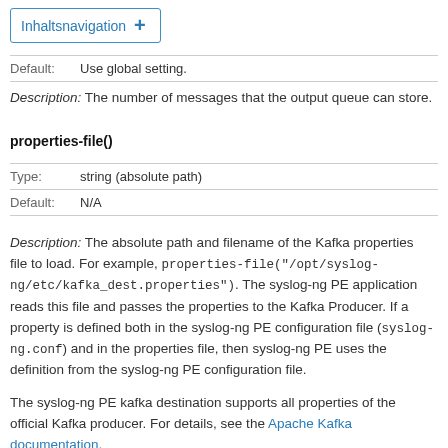Inhaltsnavigation +
| Default: | Use global setting. |
Description: The number of messages that the output queue can store.
properties-file()
| Type: | string (absolute path) |
| Default: | N/A |
Description: The absolute path and filename of the Kafka properties file to load. For example, properties-file("/opt/syslog-ng/etc/kafka_dest.properties"). The syslog-ng PE application reads this file and passes the properties to the Kafka Producer. If a property is defined both in the syslog-ng PE configuration file (syslog-ng.conf) and in the properties file, then syslog-ng PE uses the definition from the syslog-ng PE configuration file.
The syslog-ng PE kafka destination supports all properties of the official Kafka producer. For details, see the Apache Kafka documentation.